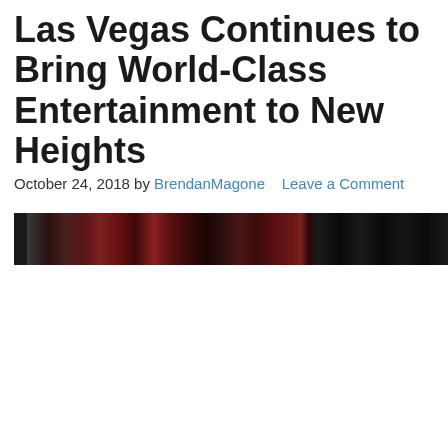Las Vegas Continues to Bring World-Class Entertainment to New Heights
October 24, 2018 by BrendanMagone    Leave a Comment
[Figure (photo): A dark, partially visible photo banner image showing what appears to be a Las Vegas entertainment venue with red and dark tones, mostly obscured.]